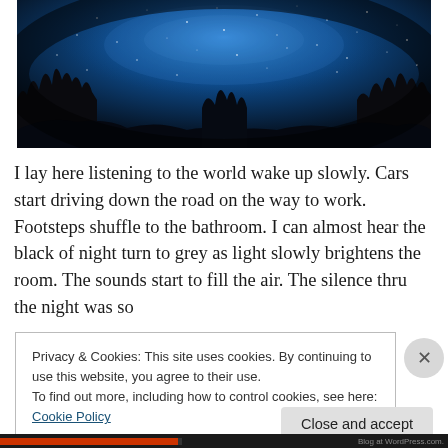[Figure (photo): Night sky photo showing a wide-angle fisheye view of a starry blue sky with the Milky Way visible, and dark tree silhouettes along the bottom and sides of the frame.]
I lay here listening to the world wake up slowly. Cars start driving down the road on the way to work. Footsteps shuffle to the bathroom. I can almost hear the black of night turn to grey as light slowly brightens the room. The sounds start to fill the air. The silence thru the night was so
Privacy & Cookies: This site uses cookies. By continuing to use this website, you agree to their use.
To find out more, including how to control cookies, see here: Cookie Policy